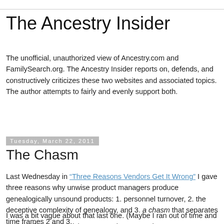The Ancestry Insider
The unofficial, unauthorized view of Ancestry.com and FamilySearch.org. The Ancestry Insider reports on, defends, and constructively criticizes these two websites and associated topics. The author attempts to fairly and evenly support both.
Tuesday, March 22, 2011
The Chasm
Last Wednesday in “Three Reasons Vendors Get It Wrong” I gave three reasons why unwise product managers produce genealogically unsound products: 1. personnel turnover, 2. the deceptive complexity of genealogy, and 3. a chasm that separates time frames 2 and 3.
I was a bit vague about that last one. (Maybe I ran out of time and couldn’t finish the article… Or maybe I wanted to